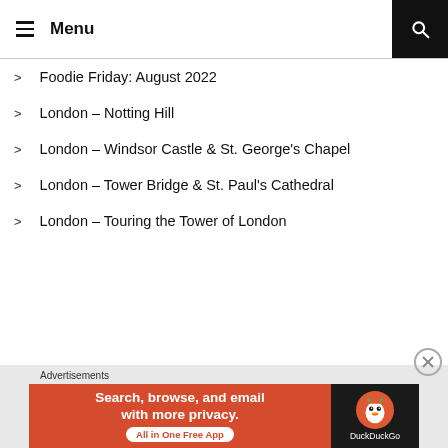Menu
Foodie Friday: August 2022
London – Notting Hill
London – Windsor Castle & St. George's Chapel
London – Tower Bridge & St. Paul's Cathedral
London – Touring the Tower of London
[Figure (screenshot): DuckDuckGo advertisement banner: 'Search, browse, and email with more privacy. All in One Free App' with DuckDuckGo logo on dark background.]